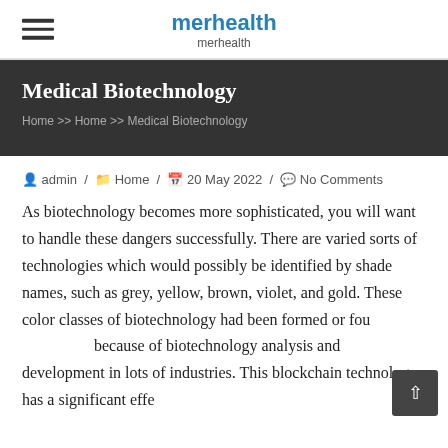merhealth
merhealth
Medical Biotechnology
Home >> Home >> Medical Biotechnology
admin / Home / 20 May 2022 / No Comments
As biotechnology becomes more sophisticated, you will want to handle these dangers successfully. There are varied sorts of technologies which would possibly be identified by shade names, such as grey, yellow, brown, violet, and gold. These color classes of biotechnology had been formed or found because of biotechnology analysis and development in lots of industries. This blockchain technology has a significant effect...